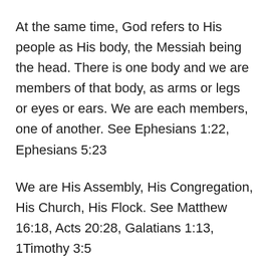At the same time, God refers to His people as His body, the Messiah being the head. There is one body and we are members of that body, as arms or legs or eyes or ears. We are each members, one of another. See Ephesians 1:22, Ephesians 5:23
We are His Assembly, His Congregation, His Church, His Flock. See Matthew 16:18, Acts 20:28, Galatians 1:13, 1Timothy 3:5
God had explained to David that the reason He never asked any man to build Him a house (besides the fact that it would not physically ever be possible, as the Earth is but His footstool!) was that He met with men